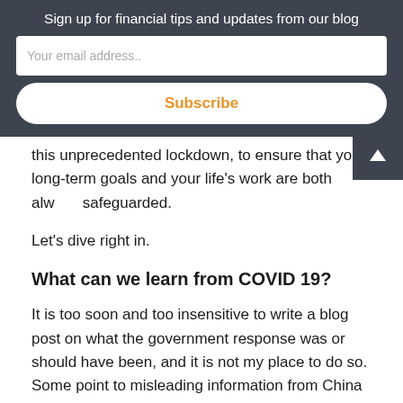Sign up for financial tips and updates from our blog
Your email address..
Subscribe
this unprecedented lockdown, to ensure that you long-term goals and your life’s work are both alw… safeguarded.
Let’s dive right in.
What can we learn from COVID 19?
It is too soon and too insensitive to write a blog post on what the government response was or should have been, and it is not my place to do so. Some point to misleading information from China about the virus, and warnings in the US about preparing for the next pandemic that the government ignored, or the alleged